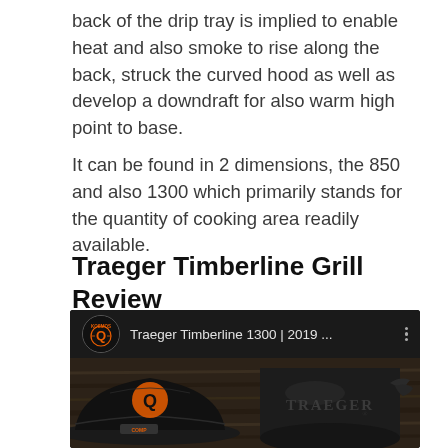back of the drip tray is implied to enable heat and also smoke to rise along the back, struck the curved hood as well as develop a downdraft for also warm high point to base.
It can be found in 2 dimensions, the 850 and also 1300 which primarily stands for the quantity of cooking area readily available.
Traeger Timberline Grill Review
[Figure (screenshot): YouTube video thumbnail showing 'Traeger Timberline 1300 | 2019 ...' by Kosmos Q channel, with a dark background image of a black baseball cap with orange Q logo and a Traeger branded cylindrical object.]